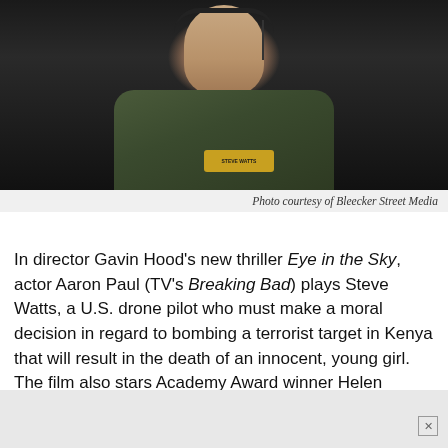[Figure (photo): Actor Aaron Paul in a military flight suit/jacket with a headset and name patch reading STEVE WATTS, against a dark background. Photo from the movie Eye in the Sky.]
Photo courtesy of Bleecker Street Media
In director Gavin Hood's new thriller Eye in the Sky, actor Aaron Paul (TV's Breaking Bad) plays Steve Watts, a U.S. drone pilot who must make a moral decision in regard to bombing a terrorist target in Kenya that will result in the death of an innocent, young girl. The film also stars Academy Award winner Helen Mirren (The Queen) and the late Alan Rickman (Harry Potter series).